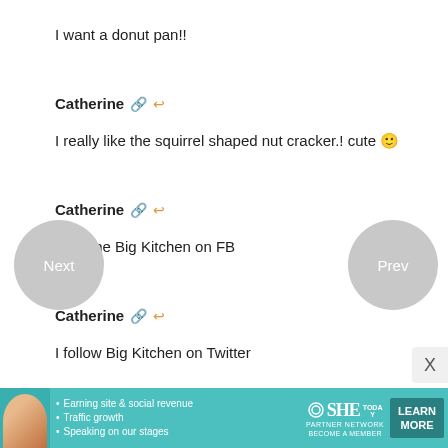I want a donut pan!!
Catherine 🔗 ↩
I really like the squirrel shaped nut cracker.! cute 🙂
Catherine 🔗 ↩
I like the Big Kitchen on FB
Catherine 🔗 ↩
I follow Big Kitchen on Twitter
[Figure (screenshot): Navigation buttons: 'Next' circle on left, 'Prev' circle on right]
[Figure (screenshot): Advertisement banner for SHE Partner Network with text: Earning site & social revenue, Traffic growth, Speaking on our stages, LEARN MORE button]